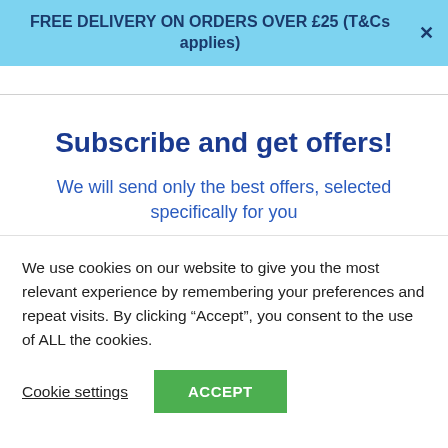FREE DELIVERY ON ORDERS OVER £25 (T&Cs applies)
Subscribe and get offers!
We will send only the best offers, selected specifically for you
We use cookies on our website to give you the most relevant experience by remembering your preferences and repeat visits. By clicking "Accept", you consent to the use of ALL the cookies.
Cookie settings   ACCEPT